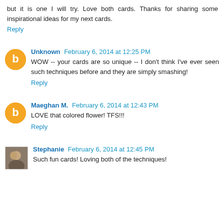but it is one I will try. Love both cards. Thanks for sharing some inspirational ideas for my next cards.
Reply
Unknown  February 6, 2014 at 12:25 PM
WOW -- your cards are so unique -- I don't think I've ever seen such techniques before and they are simply smashing!
Reply
Maeghan M.  February 6, 2014 at 12:43 PM
LOVE that colored flower! TFS!!!
Reply
Stephanie  February 6, 2014 at 12:45 PM
Such fun cards! Loving both of the techniques!